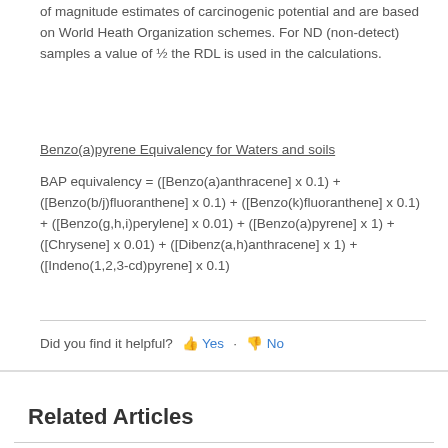of magnitude estimates of carcinogenic potential and are based on World Heath Organization schemes. For ND (non-detect) samples a value of ½ the RDL is used in the calculations.
Benzo(a)pyrene Equivalency for Waters and soils
BAP equivalency = ([Benzo(a)anthracene] x 0.1) + ([Benzo(b/j)fluoranthene] x 0.1) + ([Benzo(k)fluoranthene] x 0.1) + ([Benzo(g,h,i)perylene] x 0.01) + ([Benzo(a)pyrene] x 1) +([Chrysene] x 0.01) + ([Dibenz(a,h)anthracene] x 1) + ([Indeno(1,2,3-cd)pyrene] x 0.1)
Did you find it helpful? 👍 Yes · 👎 No
Related Articles